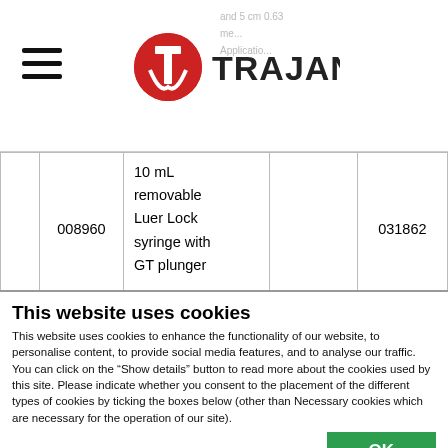Trajan website header with hamburger menu and Trajan logo
and 5 cm 0.63
me...
Applicatio...
|  |  |  |  |  |
| --- | --- | --- | --- | --- |
|  | 008960 | 10 mL removable Luer Lock syringe with GT plunger |  | 031862 |
This website uses cookies
This website uses cookies to enhance the functionality of our website, to personalise content, to provide social media features, and to analyse our traffic. You can click on the “Show details” button to read more about the cookies used by this site. Please indicate whether you consent to the placement of the different types of cookies by ticking the boxes below (other than Necessary cookies which are necessary for the operation of our site).
OK
Necessary | Preferences | Statistics | Marketing | Show details